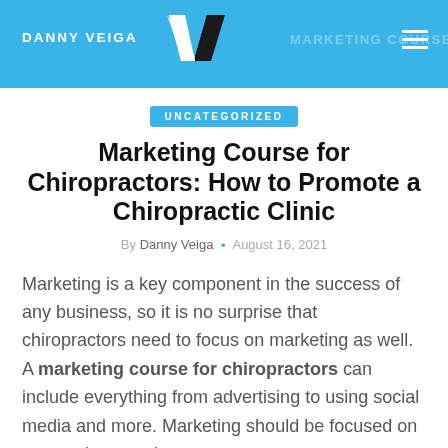DANNY VEIGA  MARKETING COURSE FOR
UNCATEGORIZED
Marketing Course for Chiropractors: How to Promote a Chiropractic Clinic
By Danny Veiga • August 16, 2021
Marketing is a key component in the success of any business, so it is no surprise that chiropractors need to focus on marketing as well. A marketing course for chiropractors can include everything from advertising to using social media and more. Marketing should be focused on new patients and not